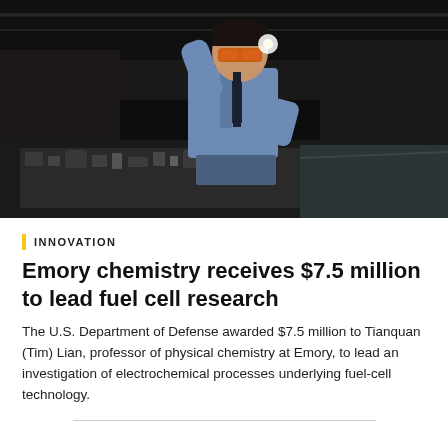[Figure (photo): A scientist in a blue lab coat and orange safety goggles stands behind a large optical/laser equipment table filled with scientific instruments and components in a dark laboratory. He has one arm raised above his head and stands confidently.]
INNOVATION
Emory chemistry receives $7.5 million to lead fuel cell research
The U.S. Department of Defense awarded $7.5 million to Tianquan (Tim) Lian, professor of physical chemistry at Emory, to lead an investigation of electrochemical processes underlying fuel-cell technology.